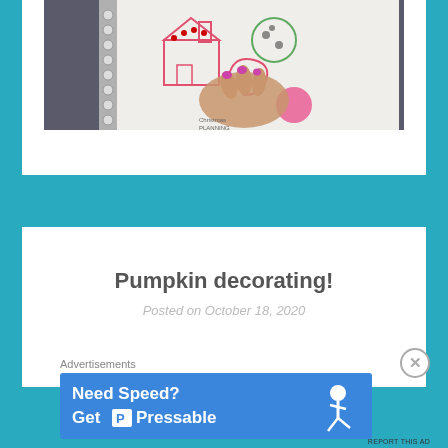[Figure (photo): A photo of a hand holding open a spiral-bound notebook with hand-drawn Christmas/holiday themed illustrations including a house with decorations, a cookie, a bag, and other drawings in pink and green marker.]
Pumpkin decorating!
Posted on October 18, 2020
Advertisements
[Figure (other): Advertisement banner: 'Need Speed? Get Pressable' with a person flying/running graphic on blue background.]